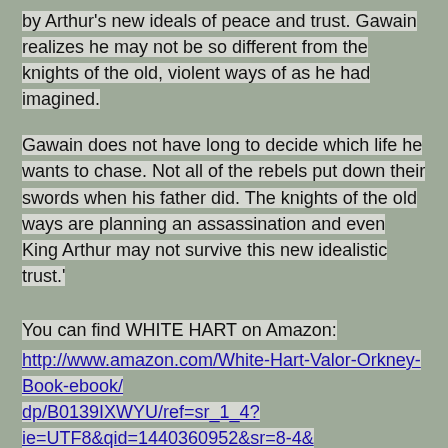by Arthur's new ideals of peace and trust. Gawain realizes he may not be so different from the knights of the old, violent ways of as he had imagined.
Gawain does not have long to decide which life he wants to chase. Not all of the rebels put down their swords when his father did. The knights of the old ways are planning an assassination and even King Arthur may not survive this new idealistic trust.'
You can find WHITE HART on Amazon:
http://www.amazon.com/White-Hart-Valor-Orkney-Book-ebook/dp/B0139IXWYU/ref=sr_1_4?ie=UTF8&qid=1440360952&sr=8-4&keywords=white+hart
Deirdra at 12:00 AM    No comments:
Share
MONDAY, AUGUST 24, 2015